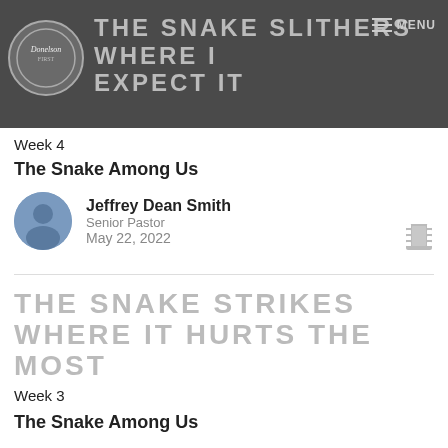THE SNAKE SLITHERS WHERE I EXPECT IT
Week 4
The Snake Among Us
Jeffrey Dean Smith
Senior Pastor
May 22, 2022
THE SNAKE STRIKES WHERE IT HURTS THE MOST
Week 3
The Snake Among Us